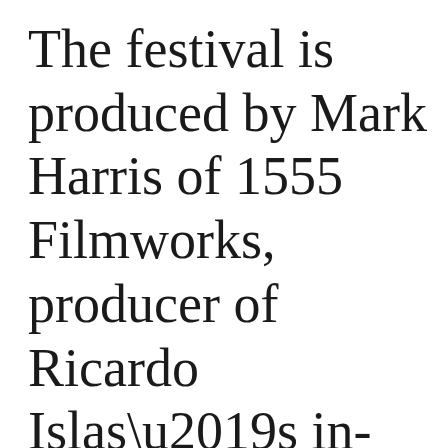The festival is produced by Mark Harris of 1555 Filmworks, producer of Ricardo Islas’s in-production “Frankenstein: Day of